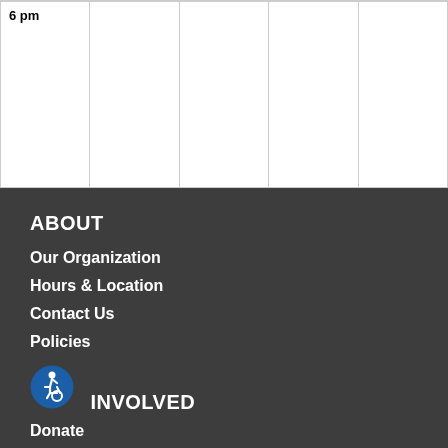|  |  |  |  |  |
| --- | --- | --- | --- | --- |
| 6 pm |  |  |  |  |
ABOUT
Our Organization
Hours & Location
Contact Us
Policies
INVOLVED
Donate